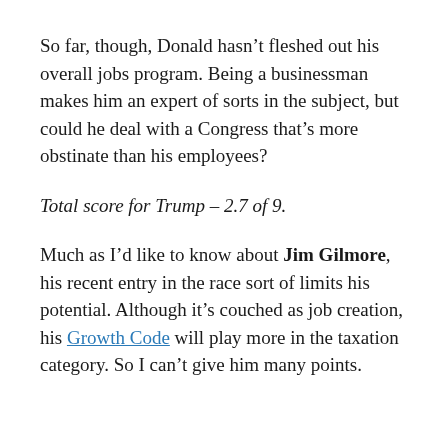So far, though, Donald hasn't fleshed out his overall jobs program. Being a businessman makes him an expert of sorts in the subject, but could he deal with a Congress that's more obstinate than his employees?
Total score for Trump – 2.7 of 9.
Much as I'd like to know about Jim Gilmore, his recent entry in the race sort of limits his potential. Although it's couched as job creation, his Growth Code will play more in the taxation category. So I can't give him many points.